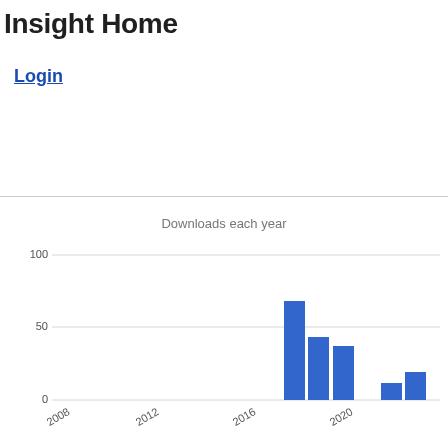Insight Home
Login
[Figure (bar-chart): Downloads each year]